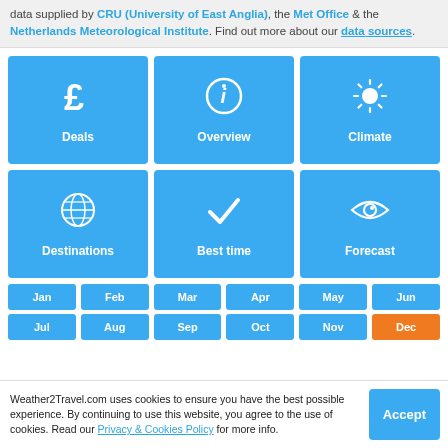data supplied by CRU (University of East Anglia), the Met Office & the Netherlands Meteorological Institute. Find out more about our data sources.
[Figure (infographic): 3x2 grid of blue navigation tiles: Deals (£ icon), Overview (info icon), Climate (sun icon), Destinations (globe icon), Best time (checkmark icon), Forecast (eye icon)]
Jan
Feb
Mar
Apr
May
Jun
Jul
Aug
Sep
Oct
Nov
Dec
Weather2Travel.com uses cookies to ensure you have the best possible experience. By continuing to use this website, you agree to the use of cookies. Read our Privacy & Cookies Policy for more info.